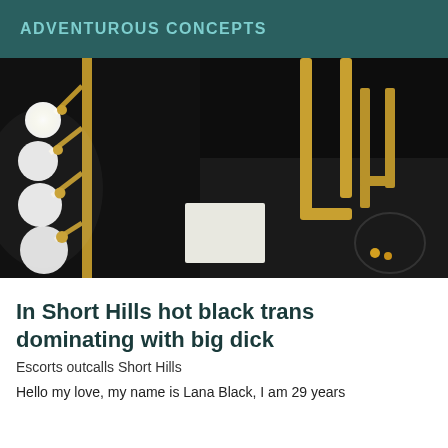ADVENTUROUS CONCEPTS
[Figure (photo): Dark background photo showing Hollywood-style vanity mirror bulbs on brass fixtures on the left side, and gold/brass lamp fixtures on the right side against a dark background with various items on a surface]
In Short Hills hot black trans dominating with big dick
Escorts outcalls Short Hills
Hello my love, my name is Lana Black, I am 29 years